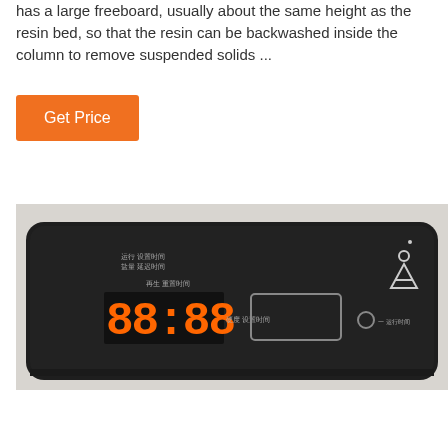has a large freeboard, usually about the same height as the resin bed, so that the resin can be backwashed inside the column to remove suspended solids ...
[Figure (photo): Close-up photo of a device control panel with a dark faceplate showing a digital display reading '88:8/8', Chinese text labels, a rectangular button area, a small circular control, and a logo resembling a stylized figure, mounted in a light-colored housing.]